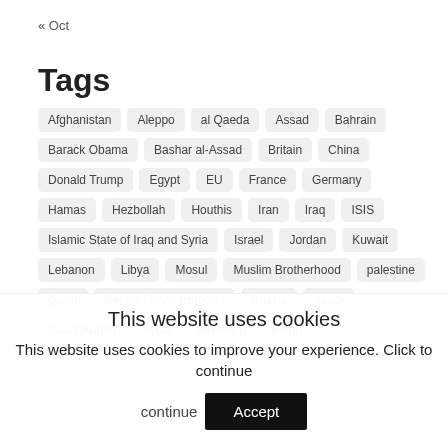« Oct
Tags
Afghanistan
Aleppo
al Qaeda
Assad
Bahrain
Barack Obama
Bashar al-Assad
Britain
China
Donald Trump
Egypt
EU
France
Germany
Hamas
Hezbollah
Houthis
Iran
Iraq
ISIS
Islamic State of Iraq and Syria
Israel
Jordan
Kuwait
Lebanon
Libya
Mosul
Muslim Brotherhood
palestine
Qatar
Recep Tayyip Erdoğan
Russia
Saudi
Saudi Arabia
Syria
Terrorism
trump
This website uses cookies
This website uses cookies to improve your experience. Click to continue
Accept